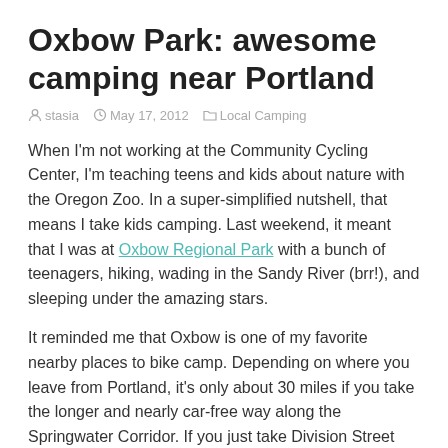Oxbow Park: awesome camping near Portland
stasia   May 17, 2012   Local Camping
When I'm not working at the Community Cycling Center, I'm teaching teens and kids about nature with the Oregon Zoo. In a super-simplified nutshell, that means I take kids camping. Last weekend, it meant that I was at Oxbow Regional Park with a bunch of teenagers, hiking, wading in the Sandy River (brr!), and sleeping under the amazing stars.
It reminded me that Oxbow is one of my favorite nearby places to bike camp. Depending on where you leave from Portland, it's only about 30 miles if you take the longer and nearly car-free way along the Springwater Corridor. If you just take Division Street out there, it's even faster, though not as pleasant.